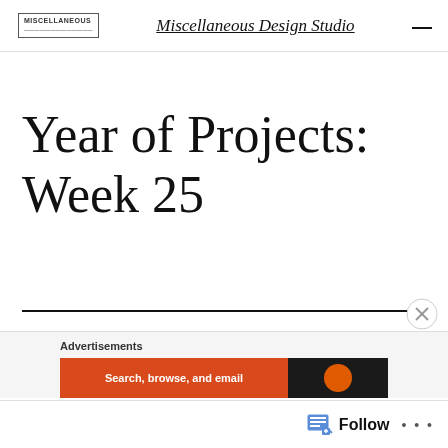MISCELLANEOUS | Miscellaneous Design Studio
Year of Projects: Week 25
Advertisements
Search, browse, and email